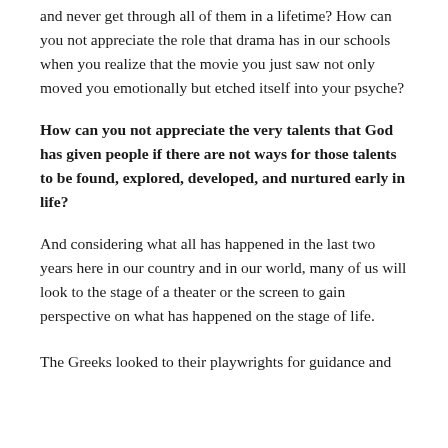and never get through all of them in a lifetime? How can you not appreciate the role that drama has in our schools when you realize that the movie you just saw not only moved you emotionally but etched itself into your psyche?
How can you not appreciate the very talents that God has given people if there are not ways for those talents to be found, explored, developed, and nurtured early in life?
And considering what all has happened in the last two years here in our country and in our world, many of us will look to the stage of a theater or the screen to gain perspective on what has happened on the stage of life.
The Greeks looked to their playwrights for guidance and